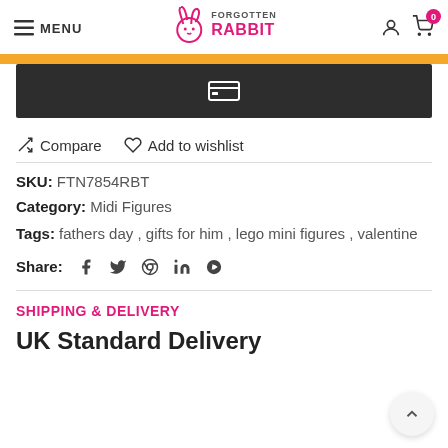MENU | Forgotten Rabbit (logo) | user icon | cart 0
[Figure (screenshot): Yellow bar and dark gray button with a credit card icon]
Compare   Add to wishlist
SKU: FTN7854RBT
Category: Midi Figures
Tags: fathers day, gifts for him, lego mini figures, valentine
Share: f (facebook) (twitter) (pinterest) in (linkedin) (telegram)
SHIPPING & DELIVERY
UK Standard Delivery